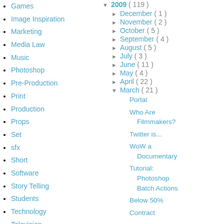Games
Image Inspiration
Marketing
Media Law
Music
Photoshop
Pre-Production
Print
Production
Props
Set
sfx
Short
Software
Story Telling
Students
Technology
Television
Tutorials
Videos
Web
Writing
2009 ( 119 )
December ( 1 )
November ( 2 )
October ( 5 )
September ( 4 )
August ( 5 )
July ( 3 )
June ( 11 )
May ( 4 )
April ( 22 )
March ( 21 )
Portal
Who Are Filmmakers?
Twitter is...
WoW a Documentary
Tutorial: Photoshop Batch Actions
Below 50%
Contract